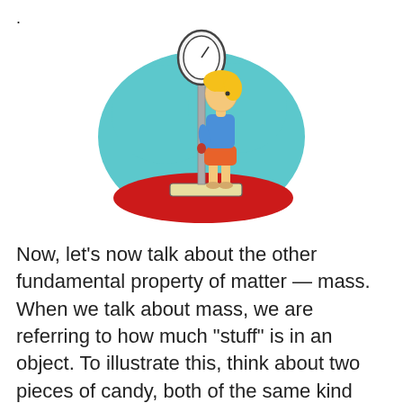[Figure (illustration): Cartoon illustration of a girl standing on a weighing scale, looking up at the dial. The scale has a tall pole with a round dial at the top. The girl has blonde hair, wearing a blue top and orange shorts. She stands on a red oval platform against a teal cloud-like background.]
Now, let's now talk about the other fundamental property of matter — mass. When we talk about mass, we are referring to how much "stuff" is in an object. To illustrate this, think about two pieces of candy, both of the same kind and both the same size, however one of them is hollow. The candy that isn't hollow has more mass compared to the hollow candy. Given that we often use scales to measure mass, you might think that mass and weight are the